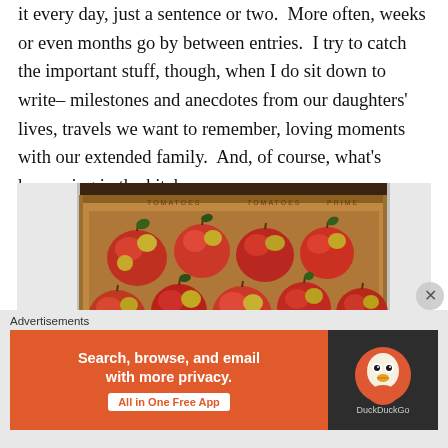it every day, just a sentence or two.  More often, weeks or even months go by between entries.  I try to catch the important stuff, though, when I do sit down to write–milestones and anecdotes from our daughters' lives, travels we want to remember, loving moments with our extended family.  And, of course, what's happening in the kitchen.
[Figure (photo): Overhead view of a cardboard box filled with red and yellow apples, placed on a dark wooden surface. White cardboard flaps are visible on the left and right sides of the box.]
Advertisements
[Figure (screenshot): DuckDuckGo advertisement banner with orange background on left reading 'Search, browse, and email with more privacy. All in One Free App' and dark right side showing DuckDuckGo logo.]